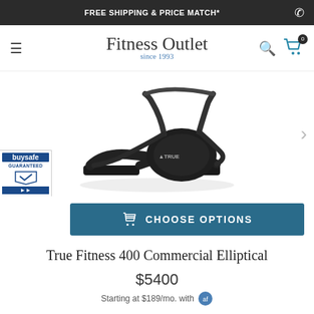FREE SHIPPING & PRICE MATCH*
Fitness Outlet since 1993
[Figure (photo): True Fitness 400 Commercial Elliptical machine displayed on white background, dark/black colored equipment with handlebars and foot pedals]
[Figure (logo): BuySafe Guaranteed badge/seal in blue and white]
CHOOSE OPTIONS
True Fitness 400 Commercial Elliptical
$5400
Starting at $189/mo. with